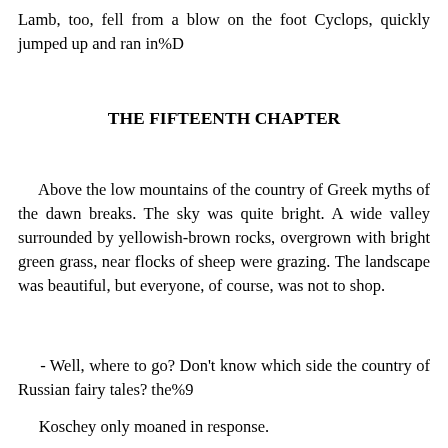Lamb, too, fell from a blow on the foot Cyclops, quickly jumped up and ran in%D
THE FIFTEENTH CHAPTER
Above the low mountains of the country of Greek myths of the dawn breaks. The sky was quite bright. A wide valley surrounded by yellowish-brown rocks, overgrown with bright green grass, near flocks of sheep were grazing. The landscape was beautiful, but everyone, of course, was not to shop.
- Well, where to go? Don't know which side the country of Russian fairy tales? the%9
Koschey only moaned in response.